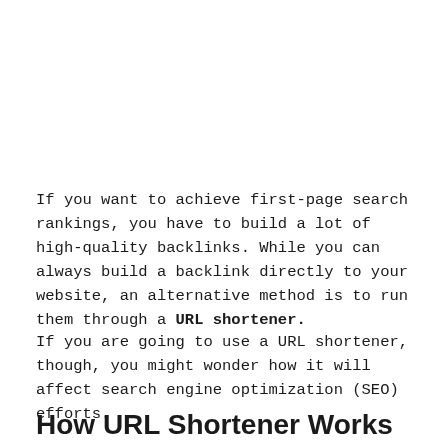If you want to achieve first-page search rankings, you have to build a lot of high-quality backlinks. While you can always build a backlink directly to your website, an alternative method is to run them through a URL shortener.
If you are going to use a URL shortener, though, you might wonder how it will affect search engine optimization (SEO) efforts.
How URL Shortener Works